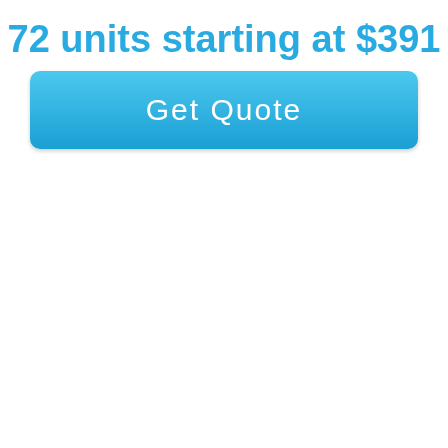72 units starting at $391
Get Quote